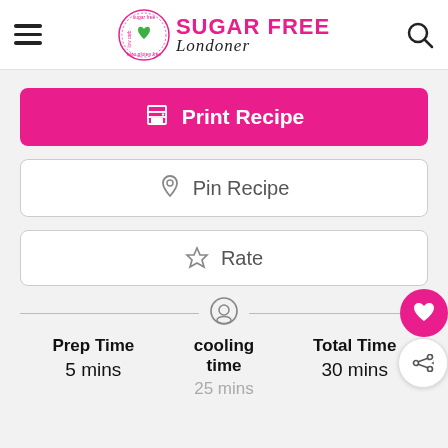SUGAR FREE Londoner
Print Recipe
Pin Recipe
Rate
Prep Time 5 mins
cooling time 25 mins
Total Time 30 mins